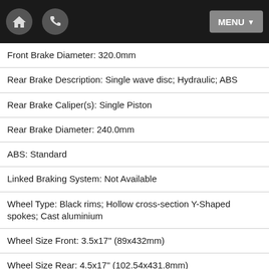Navigation bar with home icon, phone icon, and MENU button
Front Brake Diameter: 320.0mm
Rear Brake Description: Single wave disc; Hydraulic; ABS
Rear Brake Caliper(s): Single Piston
Rear Brake Diameter: 240.0mm
ABS: Standard
Linked Braking System: Not Available
Wheel Type: Black rims; Hollow cross-section Y-Shaped spokes; Cast aluminium
Wheel Size Front: 3.5x17" (89x432mm)
Wheel Size Rear: 4.5x17" (102.54x431.8mm)
Rear Tyre: 160/60-ZR17" Radial
Front Tyre: 120/70-ZR17" Radial
Length: 2080mm
Width: 790mm